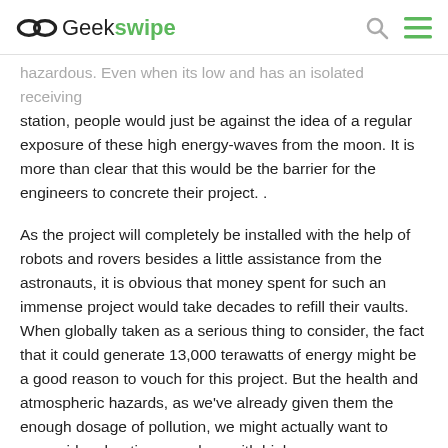Geekswipe
hazardous. Even when its low and has an isolated receiving station, people would just be against the idea of a regular exposure of these high energy-waves from the moon. It is more than clear that this would be the barrier for the engineers to concrete their project. .
As the project will completely be installed with the help of robots and rovers besides a little assistance from the astronauts, it is obvious that money spent for such an immense project would take decades to refill their vaults. When globally taken as a serious thing to consider, the fact that it could generate 13,000 terawatts of energy might be a good reason to vouch for this project. But the health and atmospheric hazards, as we've already given them the enough dosage of pollution, we might actually want to reconsider shooting ourselves with high energy microwaves and laser from the moon. Though it seems isolated in the depicted picture, the marine life will be under threat if these